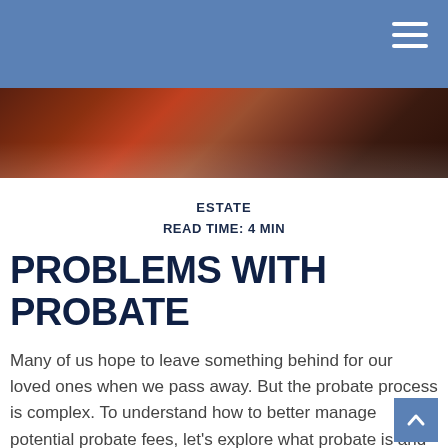[Figure (photo): Close-up abstract photo of dark reddish-brown curved surface, likely a wooden or ceramic object]
ESTATE
READ TIME: 4 MIN
PROBLEMS WITH PROBATE
Many of us hope to leave something behind for our loved ones when we pass away. But the probate process is complex. To understand how to better manage potential probate fees, let's explore what probate is and how the process works.
What Is Probate?